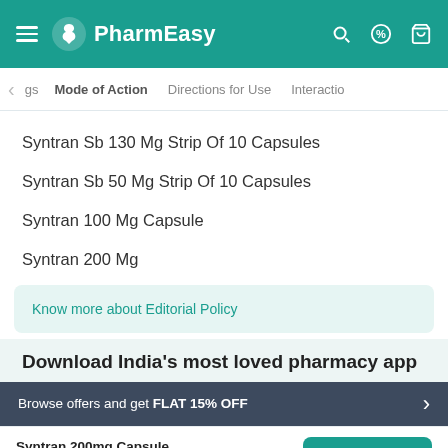PharmEasy
gs  Mode of Action  Directions for Use  Interaction
Syntran Sb 130 Mg Strip Of 10 Capsules
Syntran Sb 50 Mg Strip Of 10 Capsules
Syntran 100 Mg Capsule
Syntran 200 Mg
Know more about Editorial Policy
Download India's most loved pharmacy app
Browse offers and get FLAT 15% OFF
Syntran 200mg Capsule ₹204  15% OFF
Add To Cart